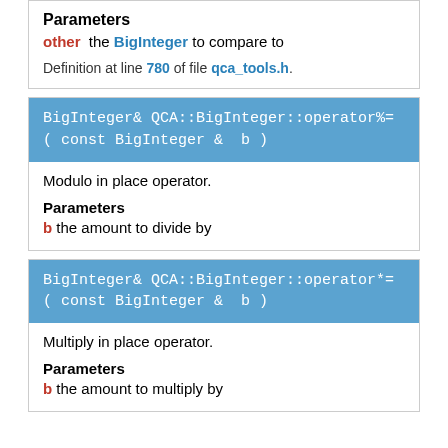Parameters
other the BigInteger to compare to
Definition at line 780 of file qca_tools.h.
BigInteger& QCA::BigInteger::operator%= ( const BigInteger &  b )
Modulo in place operator.
Parameters
b the amount to divide by
BigInteger& QCA::BigInteger::operator*= ( const BigInteger &  b )
Multiply in place operator.
Parameters
b the amount to multiply by